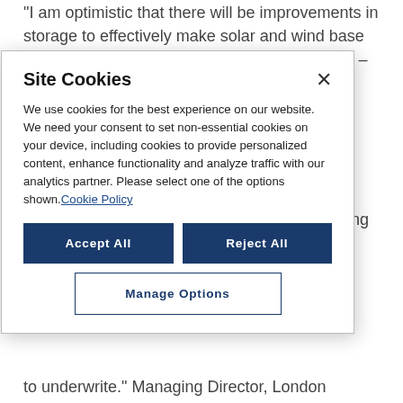“I am optimistic that there will be improvements in storage to effectively make solar and wind base load power that projects can charge more for.” – Managing Director, Boutique Accounting Firm
“We’re quite excited about storage.” – Managing
[Figure (screenshot): Cookie consent modal dialog box with title 'Site Cookies', body text about cookie usage and a Cookie Policy link, two primary buttons 'Accept All' and 'Reject All', and an outline button 'Manage Options'.]
to underwrite.” Managing Director, London